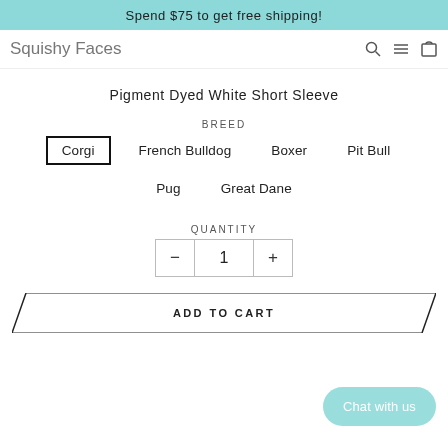Spend $75 to get free shipping!
Squishy Faces (logo) + nav icons
Pigment Dyed White Short Sleeve
BREED
Corgi (selected)
French Bulldog
Boxer
Pit Bull
Pug
Great Dane
QUANTITY
- 1 +
ADD TO CART
Chat with us